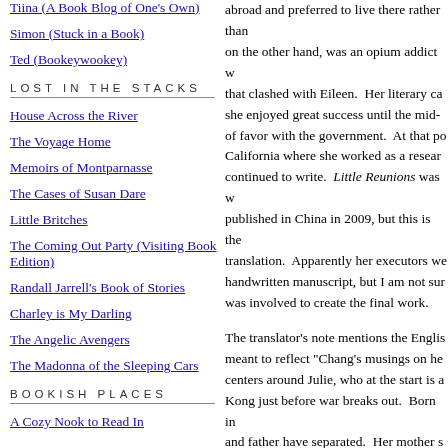Tiina (A Book Blog of One's Own)
Simon (Stuck in a Book)
Ted (Bookeywookey)
LOST IN THE STACKS
House Across the River
The Voyage Home
Memoirs of Montparnasse
The Cases of Susan Dare
Little Britches
The Coming Out Party (Visiting Book Edition)
Randall Jarrell's Book of Stories
Charley is My Darling
The Angelic Avengers
The Madonna of the Sleeping Cars
BOOKISH PLACES
A Cozy Nook to Read In
abroad and preferred to live there rather than... on the other hand, was an opium addict w... that clashed with Eileen. Her literary ca... she enjoyed great success until the mid-... of favor with the government. At that po... California where she worked as a resear... continued to write. Little Reunions was w... published in China in 2009, but this is the... translation. Apparently her executors we... handwritten manuscript, but I am not sur... was involved to create the final work.
The translator's note mentions the Engli... meant to reflect "Chang's musings on he... centers around Julie, who at the start is a... Kong just before war breaks out. Born i... and father have separated. Her mother s... life more than in it, and it's obvious that t... fraught with tension. Her father is an op... concubine. Julie has been instructed to... and Second Aunt (Rachel). She has one... makes numerous appearances yet it feel... of the time. The narrative is 'stories' (I'm...